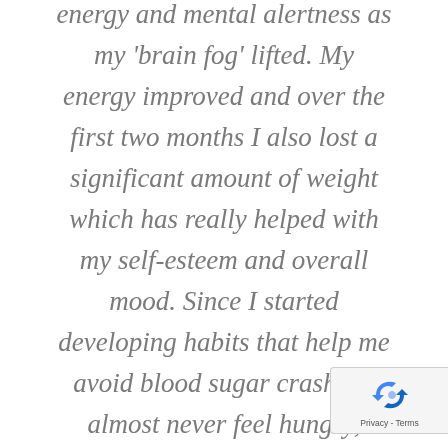energy and mental alertness as my 'brain fog' lifted. My energy improved and over the first two months I also lost a significant amount of weight which has really helped with my self-esteem and overall mood. Since I started developing habits that help me avoid blood sugar crashes I almost never feel hungry, which has been very liberating